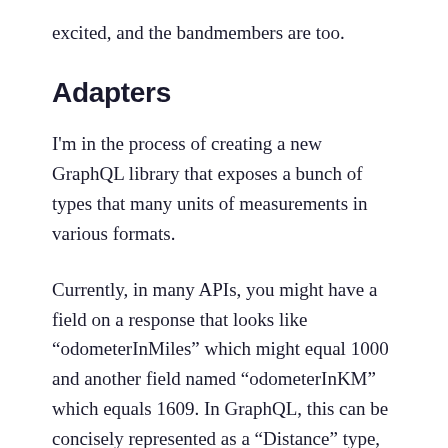excited, and the bandmembers are too.
Adapters
I'm in the process of creating a new GraphQL library that exposes a bunch of types that many units of measurements in various formats.
Currently, in many APIs, you might have a field on a response that looks like “odometerInMiles” which might equal 1000 and another field named “odometerInKM” which equals 1609. In GraphQL, this can be concisely represented as a “Distance” type, and it could expose the value with every kind of distance unit you could want.